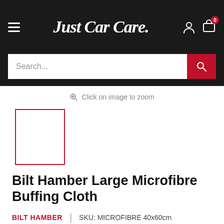Just Car Care
Click on image to zoom
[Figure (photo): Product thumbnail placeholder with red border for Bilt Hamber Large Microfibre Buffing Cloth]
Bilt Hamber Large Microfibre Buffing Cloth
BILT HAMBER | SKU: MICROFIBRE 40x60cm